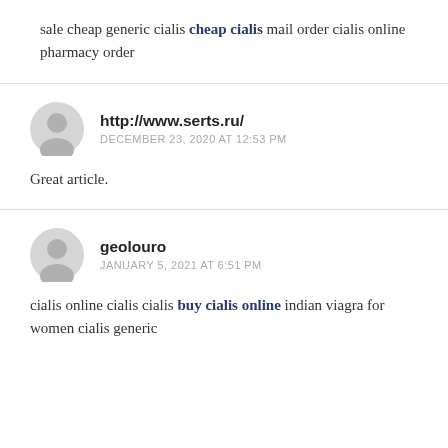sale cheap generic cialis cheap cialis mail order cialis online pharmacy order
http://www.serts.ru/
DECEMBER 23, 2020 AT 12:53 PM
Great article.
geolouro
JANUARY 5, 2021 AT 6:51 PM
cialis online cialis cialis buy cialis online indian viagra for women cialis generic